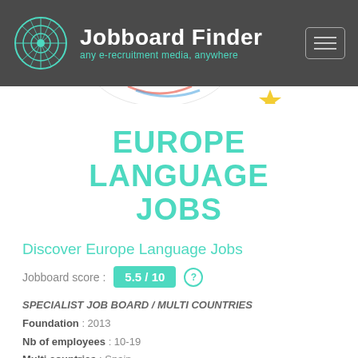[Figure (logo): Jobboard Finder logo with globe icon and brand name 'Jobboard Finder' and tagline 'any e-recruitment media, anywhere' on dark grey header background]
EUROPE LANGUAGE JOBS
Discover Europe Language Jobs
Jobboard score : 5.5 / 10
SPECIALIST JOB BOARD / MULTI COUNTRIES
Foundation : 2013
Nb of employees : 10-19
Multi countries : Spain
Site Languages : English
Specialities : Language, translation
Travel